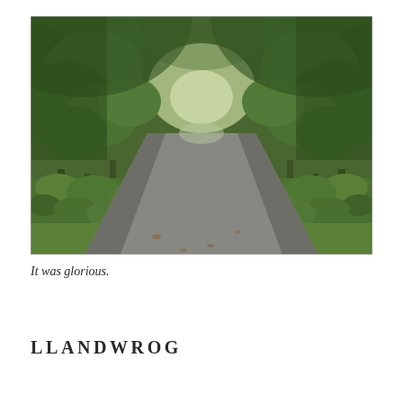[Figure (photo): A narrow country road lined with lush green trees forming a canopy overhead, ferns and low vegetation on the verges, perspective view receding into the distance.]
It was glorious.
LLANDWROG